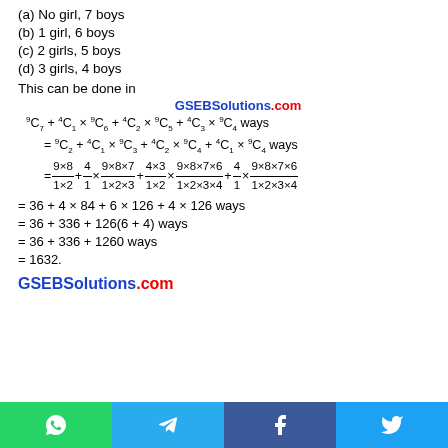(a) No girl, 7 boys
(b) 1 girl, 6 boys
(c) 2 girls, 5 boys
(d) 3 girls, 4 boys
This can be done in
[Figure (other): GSEB Solutions watermark text]
= 36 + 4 × 84 + 6 × 126 + 4 × 126 ways
= 36 + 336 + 126(6 + 4) ways
= 36 + 336 + 1260 ways
= 1632.
[Figure (logo): GSEBSolutions.com brand footer]
[Figure (other): Social share buttons bar: WhatsApp, Telegram, Facebook, Twitter]